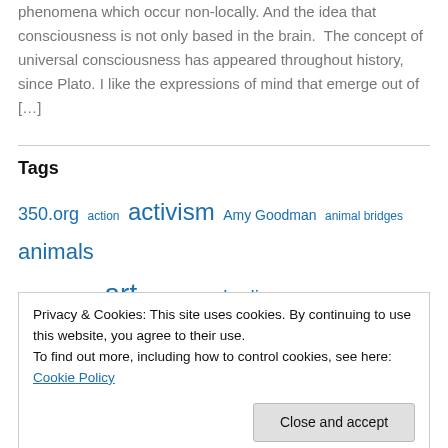phenomena which occur non-locally. And the idea that consciousness is not only based in the brain. The concept of universal consciousness has appeared throughout history, since Plato. I like the expressions of mind that emerge out of […]
Tags
350.org action activism Amy Goodman animal bridges animals Annie Leonard art Awareness berlin Bill McKibben biodiversity biology Brian Swimme Capitalism Carol Keiter climate catastrophe
Privacy & Cookies: This site uses cookies. By continuing to use this website, you agree to their use. To find out more, including how to control cookies, see here: Cookie Policy
E.O Wilson Earth earth injustice eBook Ecocide ecology